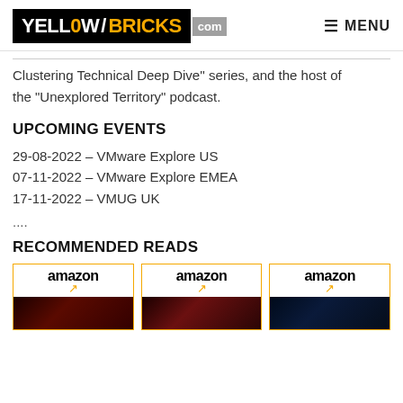YELLOW/BRICKS.com — MENU
Clustering Technical Deep Dive'' series, and the host of the "Unexplored Territory" podcast.
UPCOMING EVENTS
29-08-2022 – VMware Explore US
07-11-2022 – VMware Explore EMEA
17-11-2022 – VMUG UK
....
RECOMMENDED READS
[Figure (illustration): Three Amazon book cards with orange borders showing amazon logo and book cover images]
[Figure (illustration): Amazon book card 2]
[Figure (illustration): Amazon book card 3]